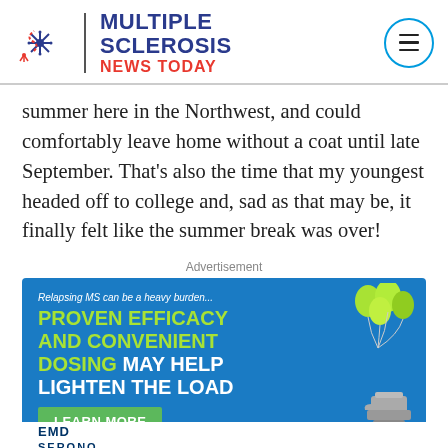[Figure (logo): Multiple Sclerosis News Today logo with stylized nerve cell icon, site name in blue and red, and hamburger menu button in circle]
summer here in the Northwest, and could comfortably leave home without a coat until late September. That's also the time that my youngest headed off to college and, sad as that may be, it finally felt like the summer break was over!
Advertisement
[Figure (infographic): Blue advertisement banner for relapsing MS medication. Text: 'Relapsing MS can be a heavy burden...' PROVEN EFFICACY AND CONVENIENT DOSING MAY HELP LIGHTEN THE LOAD. Green LEARN MORE button. RMS = relapsing multiple sclerosis. Green balloons and anvil imagery. EMD Serono branding at bottom.]